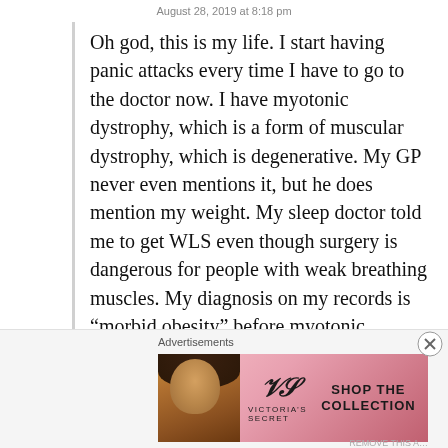August 28, 2019 at 8:18 pm
Oh god, this is my life. I start having panic attacks every time I have to go to the doctor now. I have myotonic dystrophy, which is a form of muscular dystrophy, which is degenerative. My GP never even mentions it, but he does mention my weight. My sleep doctor told me to get WLS even though surgery is dangerous for people with weak breathing muscles. My diagnosis on my records is “morbid obesity” before myotonic dystrophy. I will die before they see past my weight, and that is not an exaggeration.
Advertisements
[Figure (photo): Victoria's Secret advertisement banner with a model, VS logo, text 'SHOP THE COLLECTION' and a white button 'SHOP NOW']